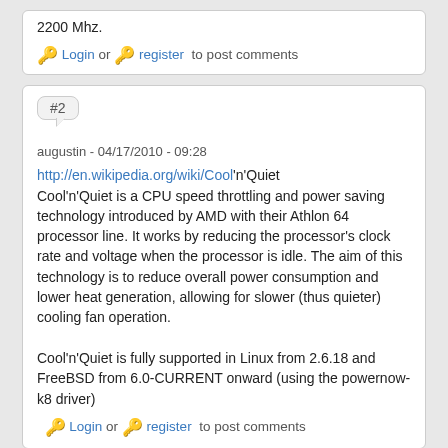2200 Mhz.
🔑 Login or 🔑 register to post comments
#2
augustin - 04/17/2010 - 09:28
http://en.wikipedia.org/wiki/Cool'n'Quiet
Cool'n'Quiet is a CPU speed throttling and power saving technology introduced by AMD with their Athlon 64 processor line. It works by reducing the processor's clock rate and voltage when the processor is idle. The aim of this technology is to reduce overall power consumption and lower heat generation, allowing for slower (thus quieter) cooling fan operation.

Cool'n'Quiet is fully supported in Linux from 2.6.18 and FreeBSD from 6.0-CURRENT onward (using the powernow-k8 driver)
🔑 Login or 🔑 register to post comments
#3
augustin - 04/17/2010 - 09:33
# cpufreq-info
The program 'cpufreq-info' is currently not installed. You can install